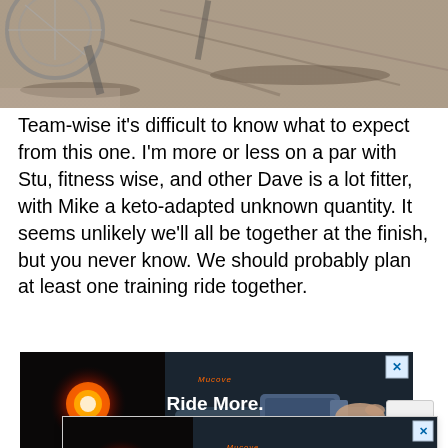[Figure (photo): Aerial/overhead view of bicycles and their shadows on a dirt/gravel surface]
Team-wise it's difficult to know what to expect from this one. I'm more or less on a par with Stu, fitness wise, and other Dave is a lot fitter, with Mike a keto-adapted unknown quantity. It seems unlikely we'll all be together at the finish, but you never know. We should probably plan at least one training ride together.
[Figure (screenshot): Advertisement banner: Ride More. Enjoy More — showing bicycle lights and handlebar accessories on dark background]
[Figure (screenshot): Popup advertisement: Ride More. Enjoy More — same ad in a popup overlay with close button]